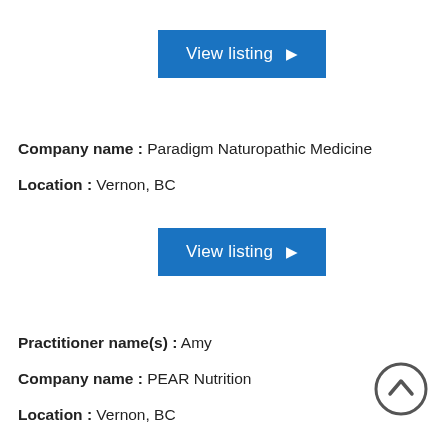[Figure (other): Blue 'View listing' button with right arrow]
Company name : Paradigm Naturopathic Medicine
Location : Vernon, BC
[Figure (other): Blue 'View listing' button with right arrow]
Practitioner name(s) : Amy
Company name : PEAR Nutrition
Location : Vernon, BC